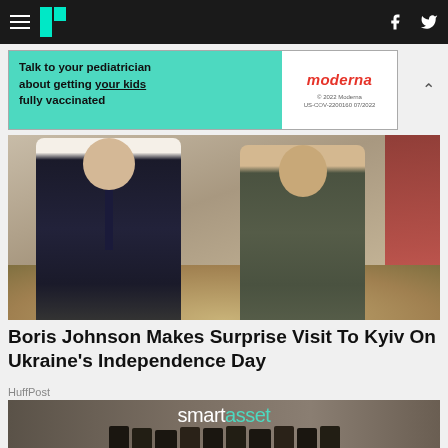HuffPost navigation header with menu, logo, facebook and twitter icons
[Figure (other): Moderna advertisement banner: 'Talk to your pediatrician about getting your kids fully vaccinated' with Moderna logo and fine print]
[Figure (photo): Two men standing together in an ornate room — one in a dark suit and tie, one in a military-style green t-shirt]
Boris Johnson Makes Surprise Visit To Kyiv On Ukraine's Independence Day
HuffPost
[Figure (photo): SmartAsset branded image showing logo text 'smartasset' with a group of employees standing below]